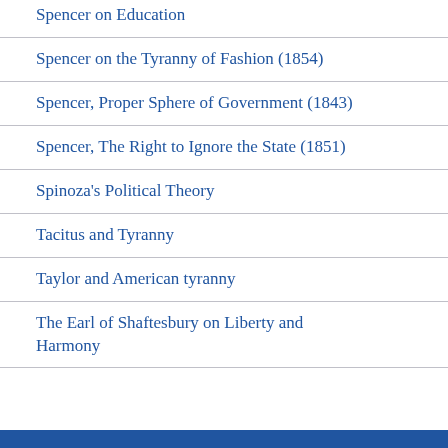Spencer on Education
Spencer on the Tyranny of Fashion (1854)
Spencer, Proper Sphere of Government (1843)
Spencer, The Right to Ignore the State (1851)
Spinoza's Political Theory
Tacitus and Tyranny
Taylor and American tyranny
The Earl of Shaftesbury on Liberty and Harmony